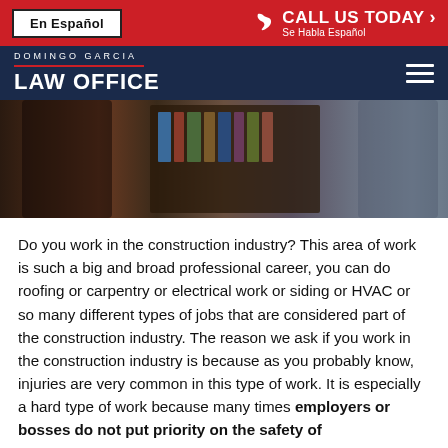En Español | CALL US TODAY Se Habla Español
[Figure (logo): Domingo Garcia Law Office logo on dark navy background]
[Figure (photo): Two people in an office setting with bookshelves in the background]
Do you work in the construction industry? This area of work is such a big and broad professional career, you can do roofing or carpentry or electrical work or siding or HVAC or so many different types of jobs that are considered part of the construction industry. The reason we ask if you work in the construction industry is because as you probably know, injuries are very common in this type of work. It is especially a hard type of work because many times employers or bosses do not put priority on the safety of